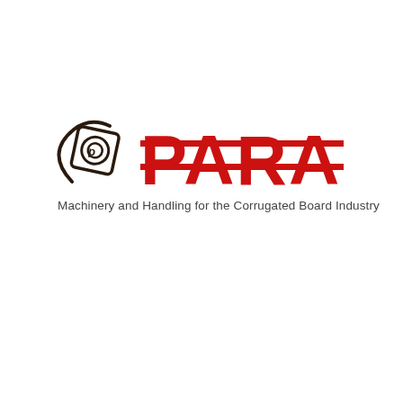[Figure (logo): PARA company logo: a dark brown square icon with a swirl and circle (ring of rope/cable) beside large bold red letters spelling PARA with two horizontal red lines across the letters, followed by the tagline 'Machinery and Handling for the Corrugated Board Industry']